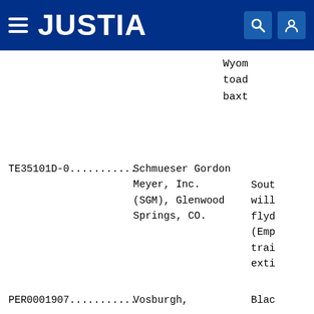JUSTIA
Wyom toac baxt
TE35101D-0.......... Schmueser Gordon Meyer, Inc. (SGM), Glenwood Springs, CO. Sout will flyd (Emp trai exti
PER0001907.......... Vosburgh, Blac